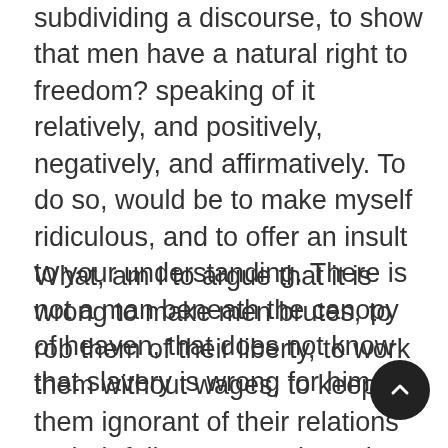subdividing a discourse, to show that men have a natural right to freedom? speaking of it relatively, and positively, negatively, and affirmatively. To do so, would be to make myself ridiculous, and to offer an insult to your understanding. There is not a man beneath the canopy of heaven, that does not know that slavery is wrong for him.
What, am I to argue that it is wrong to make men brutes, to rob them of their liberty, to work them without wages, to keep them ignorant of their relations to their fellow men, to beat them with sticks, to flay their flesh with the lash, to load their limbs with irons, to hunt them with dogs, to sell them at auction, to sunder their families, to knock out their